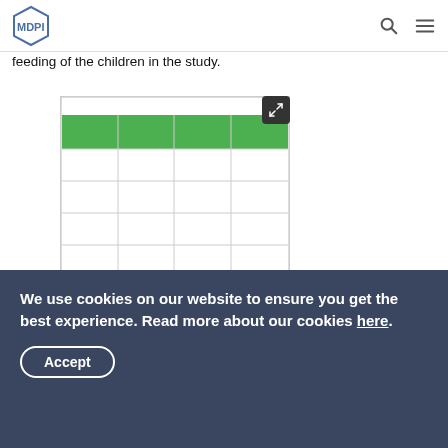MDPI
feeding of the children in the study.
[Figure (table-as-image): Thumbnail preview of a table with green header row and several data rows below, columns separated by light grey lines]
Approximately two-thirds (62.1%) of the toddlers had been born by vaginal delivery and one-third (37.9%) by cesarean section (CS). Fifteen percent of the births by CS were medically necessary. More than one-third of the toddlers (71 out of 206;
We use cookies on our website to ensure you get the best experience. Read more about our cookies here.
Accept